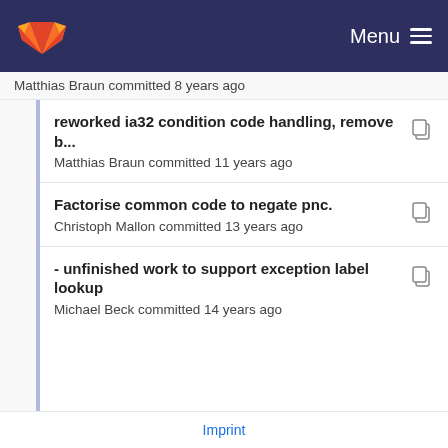Menu
Matthias Braun committed 8 years ago
reworked ia32 condition code handling, remove b...
Matthias Braun committed 11 years ago
Factorise common code to negate pnc.
Christoph Mallon committed 13 years ago
- unfinished work to support exception label lookup
Michael Beck committed 14 years ago
- fixed ir_printf format (%lu and %ld now working)
Michael Beck committed 14 years ago
- unfinished work to support exception label lookup
Michael Beck committed 14 years ago
Imprint